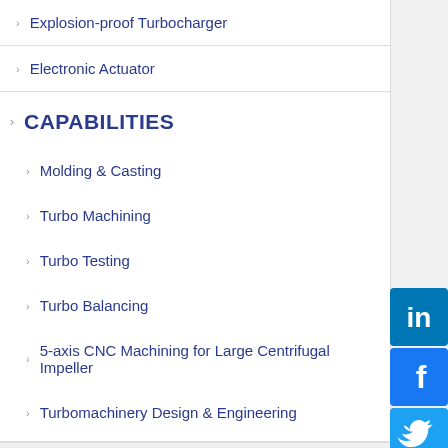Explosion-proof Turbocharger
Electronic Actuator
CAPABILITIES
Molding & Casting
Turbo Machining
Turbo Testing
Turbo Balancing
5-axis CNC Machining for Large Centrifugal Impeller
Turbomachinery Design & Engineering
Recent Posts